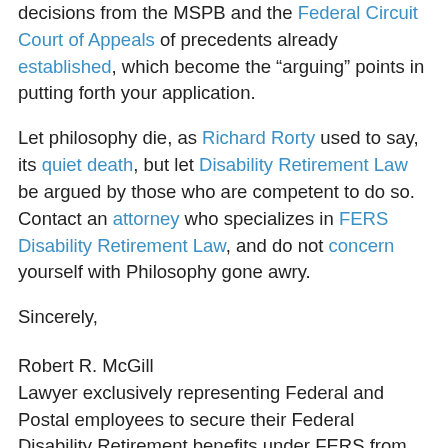decisions from the MSPB and the Federal Circuit Court of Appeals of precedents already established, which become the “arguing” points in putting forth your application.
Let philosophy die, as Richard Rorty used to say, its quiet death, but let Disability Retirement Law be argued by those who are competent to do so.  Contact an attorney who specializes in FERS Disability Retirement Law, and do not concern yourself with Philosophy gone awry.
Sincerely,
Robert R. McGill
Lawyer exclusively representing Federal and Postal employees to secure their Federal Disability Retirement benefits under FERS from the U.S. Office of Personnel